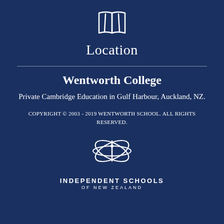[Figure (illustration): Open book / map icon in white outline style]
Location
Wentworth College
Private Cambridge Education in Gulf Harbour, Auckland, NZ.
COPYRIGHT © 2003 - 2019 WENTWORTH SCHOOL. ALL RIGHTS RESERVED.
[Figure (logo): Independent Schools of New Zealand logo — stylized letter i with curved lines forming a globe/swirl shape, with text INDEPENDENT SCHOOLS OF NEW ZEALAND below]